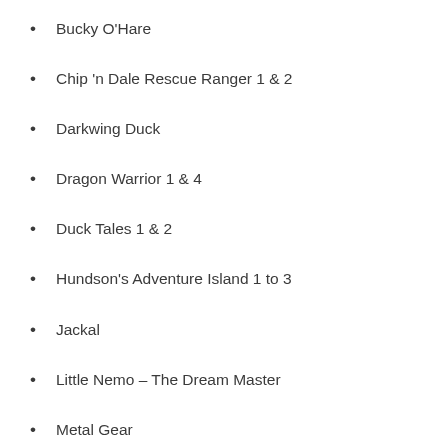Bucky O'Hare
Chip 'n Dale Rescue Ranger 1 & 2
Darkwing Duck
Dragon Warrior 1 & 4
Duck Tales 1 & 2
Hundson's Adventure Island 1 to 3
Jackal
Little Nemo – The Dream Master
Metal Gear